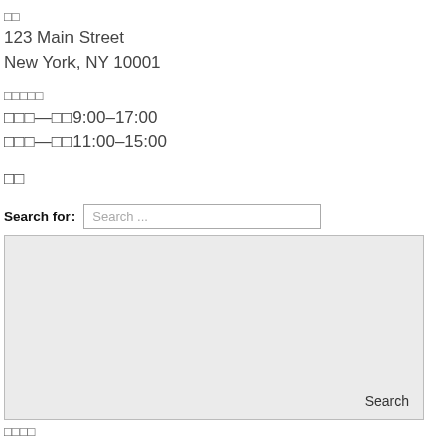□□
123 Main Street
New York, NY 10001
□□□□□
□□□—□□9:00–17:00
□□□—□□11:00–15:00
□□
Search for: Search ...
[Figure (other): Search widget box with Search button at bottom right]
□□□□